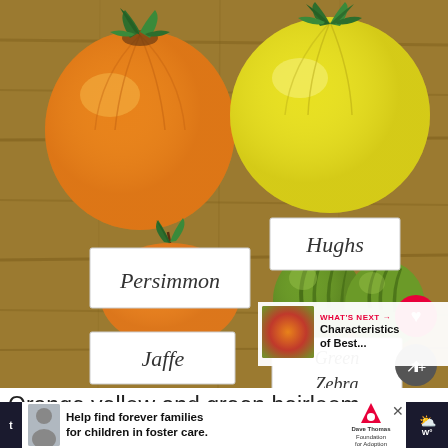[Figure (photo): Four heirloom tomatoes on a wooden surface: orange Persimmon tomato (top left), yellow Hughs tomato (top right), orange oval Jaffe tomato (bottom left), two small green-striped Green Zebra tomatoes (bottom right). Each variety has a handwritten label card beneath it. Interface buttons visible: heart/like button (red), share button (grey), and a 'What's Next' card showing 'Characteristics of Best...' with a thumbnail.]
Orange yellow and green heirloom
[Figure (screenshot): Advertisement banner: 'Help find forever families for children in foster care.' with Dave Thomas Foundation for Adoption logo. Close button visible. Weather icon on right side.]